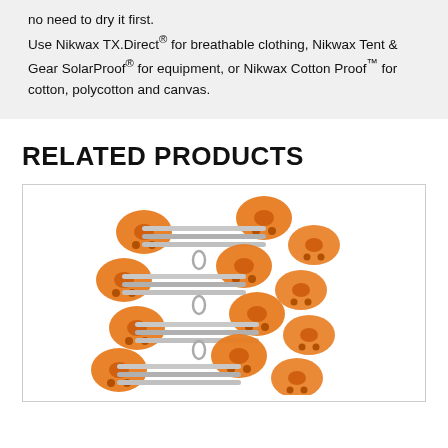no need to dry it first. Use Nikwax TX.Direct® for breathable clothing, Nikwax Tent & Gear SolarProof® for equipment, or Nikwax Cotton Proof™ for cotton, polycotton and canvas.
RELATED PRODUCTS
[Figure (photo): An orange and silver metal ladder-like rack product with orange disc-shaped end pieces and horizontal metal rods connecting them, arranged in a stepped/staggered ladder configuration.]